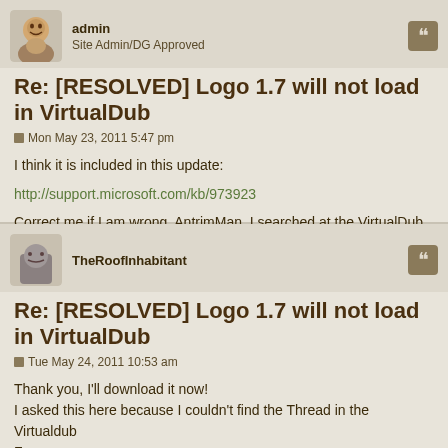admin
Site Admin/DG Approved
Re: [RESOLVED] Logo 1.7 will not load in VirtualDub
Mon May 23, 2011 5:47 pm
I think it is included in this update:
http://support.microsoft.com/kb/973923
Correct me if I am wrong, AntrimMan. I searched at the VirtualDub forum but didn't find your thread.
TheRoofInhabitant
Re: [RESOLVED] Logo 1.7 will not load in VirtualDub
Tue May 24, 2011 10:53 am
Thank you, I'll download it now!
I asked this here because I couldn't find the Thread in the Virtualdub Forum...
Anyway I wanted to thank you for all your plug-ins! Some of them are beautiful and very very useful!